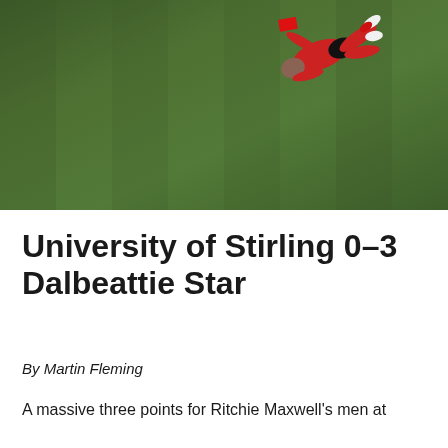[Figure (photo): Aerial or overhead view of a football/soccer player lying on a green grass pitch, wearing red kit and white boots, viewed from above.]
University of Stirling 0-3 Dalbeattie Star
By Martin Fleming
A massive three points for Ritchie Maxwell's men at